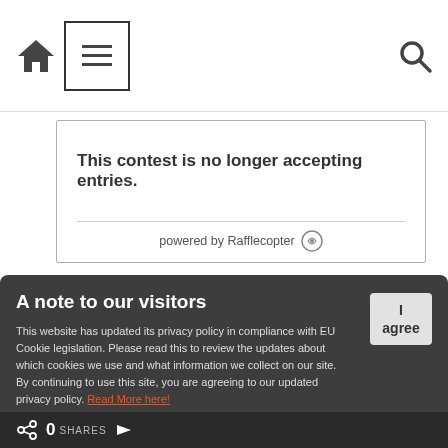[Figure (screenshot): Navigation bar with home icon, hamburger menu icon in a box, and search icon]
This contest is no longer accepting entries.
powered by Rafflecopter
A note to our visitors
This website has updated its privacy policy in compliance with EU Cookie legislation. Please read this to review the updates about which cookies we use and what information we collect on our site. By continuing to use this site, you are agreeing to our updated privacy policy. Read More here!